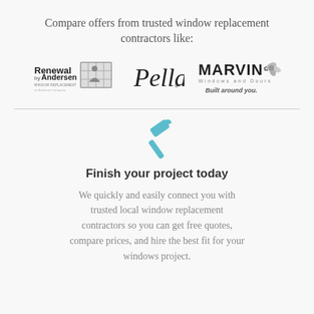Compare offers from trusted window replacement contractors like:
[Figure (logo): Three company logos in a row: Renewal by Andersen (Window Replacement), Pella (script logo with registered trademark), Marvin Windows and Doors (Built around you)]
[Figure (illustration): Teal/cyan colored hammer/screwdriver tool icon]
Finish your project today
We quickly and easily connect you with trusted local window replacement contractors so you can get free quotes, compare prices, and hire the best fit for your windows project.